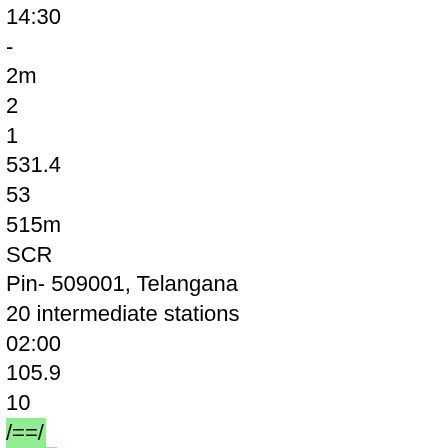14:30
-
2m
2
1
531.4
53
515m
SCR
Pin- 509001, Telangana
20 intermediate stations
02:00
105.9
10
/==/
KCG
Kacheguda
¶
16:30
-
16:40
-
10m
1
1
527.2